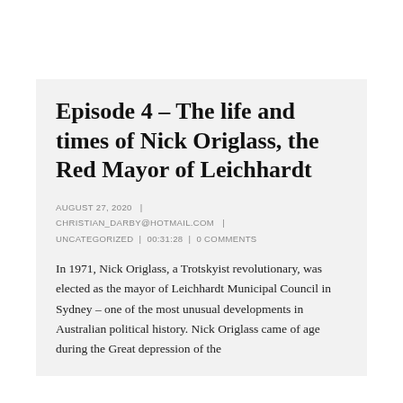Episode 4 – The life and times of Nick Origlass, the Red Mayor of Leichhardt
AUGUST 27, 2020  |  CHRISTIAN_DARBY@HOTMAIL.COM  |  UNCATEGORIZED  |  00:31:28  |  0 COMMENTS
In 1971, Nick Origlass, a Trotskyist revolutionary, was elected as the mayor of Leichhardt Municipal Council in Sydney – one of the most unusual developments in Australian political history. Nick Origlass came of age during the Great depression of the